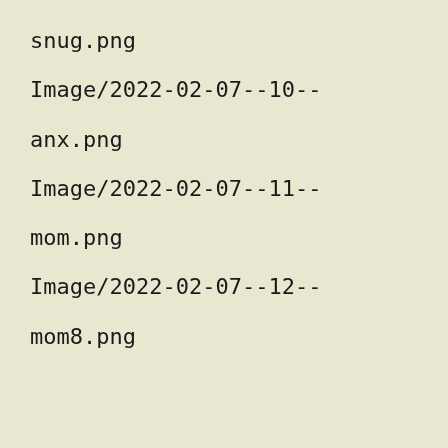snug.png
Image/2022-02-07--10--
anx.png
Image/2022-02-07--11--
mom.png
Image/2022-02-07--12--
mom8.png